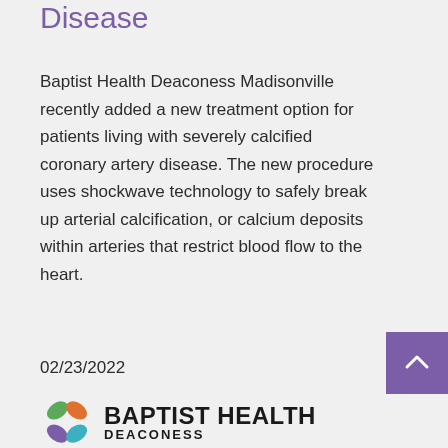Disease
Baptist Health Deaconess Madisonville recently added a new treatment option for patients living with severely calcified coronary artery disease. The new procedure uses shockwave technology to safely break up arterial calcification, or calcium deposits within arteries that restrict blood flow to the heart.
02/23/2022
[Figure (logo): Baptist Health Deaconess logo with colorful leaf icon and bold text]